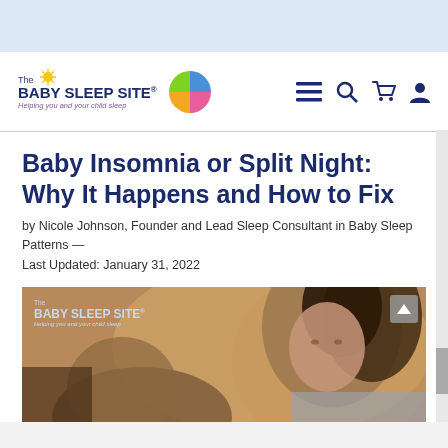The BABY SLEEP SITE® — Helping you and your child sleep
Baby Insomnia or Split Night: Why It Happens and How to Fix
by Nicole Johnson, Founder and Lead Sleep Consultant in Baby Sleep Patterns — Last Updated: January 31, 2022
[Figure (photo): A woman looking down at a baby, with The Baby Sleep Site logo watermark overlay in the top-left corner and a scroll-to-top arrow button in the top-right corner.]